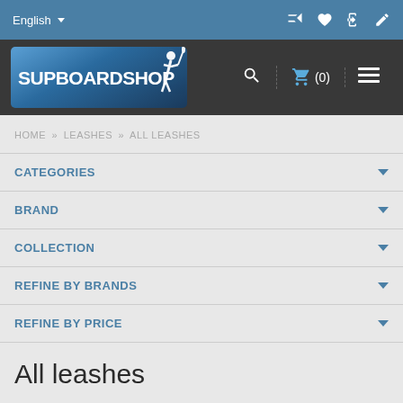English
[Figure (logo): SUP Board Shop logo with surfer silhouette on dark blue gradient background]
HOME » LEASHES » ALL LEASHES
CATEGORIES
BRAND
COLLECTION
REFINE BY BRANDS
REFINE BY PRICE
All leashes